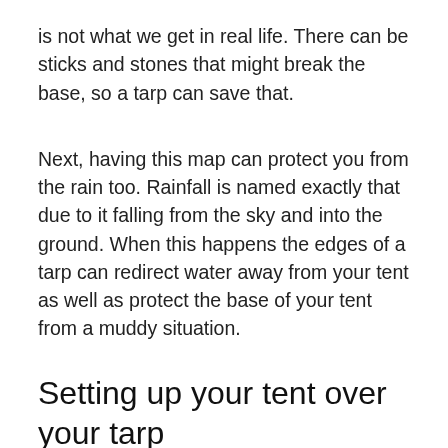is not what we get in real life. There can be sticks and stones that might break the base, so a tarp can save that.
Next, having this map can protect you from the rain too. Rainfall is named exactly that due to it falling from the sky and into the ground. When this happens the edges of a tarp can redirect water away from your tent as well as protect the base of your tent from a muddy situation.
Setting up your tent over your tarp